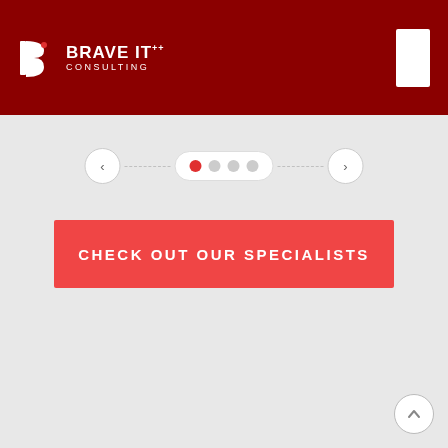[Figure (logo): Brave IT Consulting logo — white stylized B icon with company name in white text on dark red background header]
[Figure (infographic): Carousel navigation control with left arrow, dashed line, 4 dots (first red/active, rest gray), dashed line, right arrow]
CHECK OUT OUR SPECIALISTS
[Figure (infographic): Scroll-to-top circular button with upward chevron, bottom-right corner]